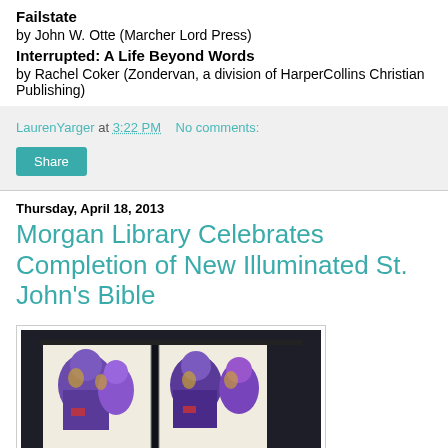Failstate
by John W. Otte (Marcher Lord Press)
Interrupted: A Life Beyond Words
by Rachel Coker (Zondervan, a division of HarperCollins Christian Publishing)
LaurenYarger at 3:22 PM   No comments:
Share
Thursday, April 18, 2013
Morgan Library Celebrates Completion of New Illuminated St. John's Bible
[Figure (photo): An open illuminated Bible showing colorful illustrated pages with purple and gold artwork, displayed against a dark background]